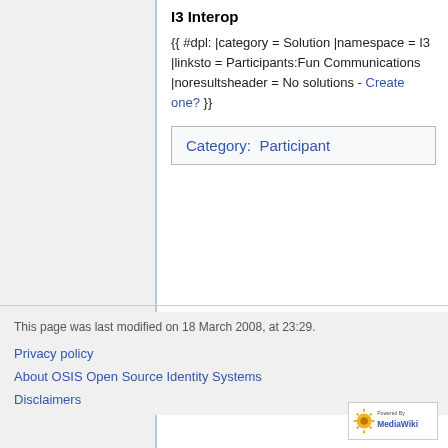I3 Interop
{{ #dpl: |category = Solution |namespace = I3 |linksto = Participants:Fun Communications |noresultsheader = No solutions - Create one? }}
Category:  Participant
This page was last modified on 18 March 2008, at 23:29.
Privacy policy
About OSIS Open Source Identity Systems
Disclaimers